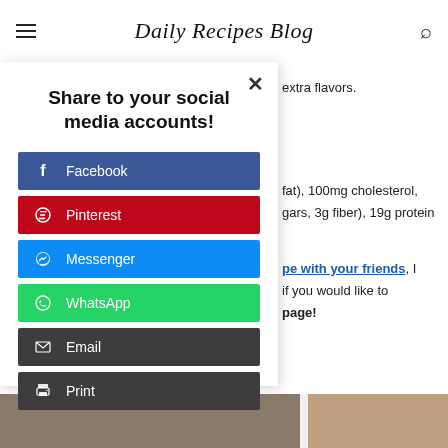Daily Recipes Blog
extra flavors.
Share to your social media accounts!
Facebook
Pinterest
Messenger
WhatsApp
Email
Print
fat), 100mg cholesterol, gars, 3g fiber), 19g protein
pe with your friends, I if you would like to page!
Taboola Feed